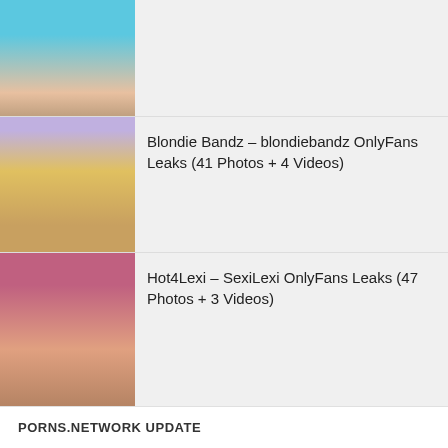[Figure (photo): Thumbnail image of a person in a blue outfit]
Blondie Bandz – blondiebandz OnlyFans Leaks (41 Photos + 4 Videos)
Hot4Lexi – SexiLexi OnlyFans Leaks (47 Photos + 3 Videos)
mellabarbiee OnlyFans Leaks (40 Photos + 3 Videos)
PORNS.NETWORK UPDATE